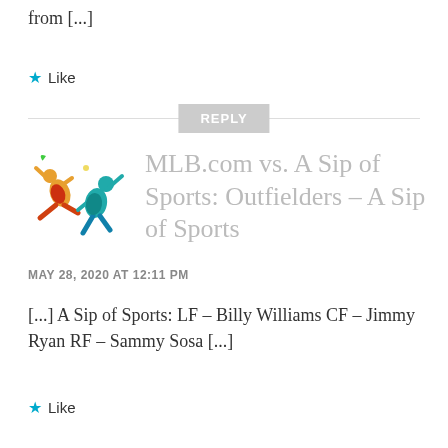from [...]
★ Like
REPLY
MLB.com vs. A Sip of Sports: Outfielders – A Sip of Sports
MAY 28, 2020 AT 12:11 PM
[...] A Sip of Sports: LF – Billy Williams CF – Jimmy Ryan RF – Sammy Sosa [...]
★ Like